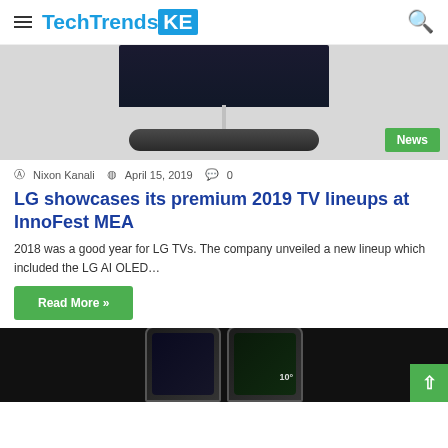TechTrendsKE
[Figure (photo): LG TV on stand with dark screen, viewed from front/slightly above. News badge in bottom right.]
Nixon Kanali  April 15, 2019  0
LG showcases its premium 2019 TV lineups at InnoFest MEA
2018 was a good year for LG TVs. The company unveiled a new lineup which included the LG AI OLED…
Read More »
[Figure (photo): Two smartphones side by side opened like a book, dark screens, one showing temperature 10°]